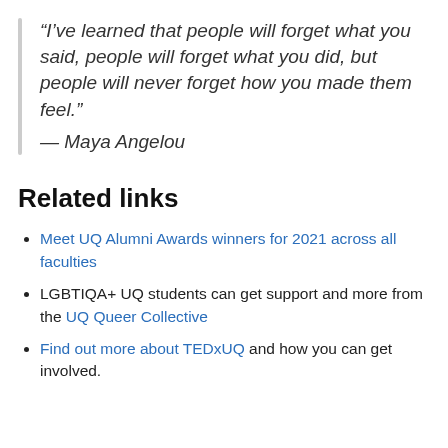“I’ve learned that people will forget what you said, people will forget what you did, but people will never forget how you made them feel.” — Maya Angelou
Related links
Meet UQ Alumni Awards winners for 2021 across all faculties
LGBTIQA+ UQ students can get support and more from the UQ Queer Collective
Find out more about TEDxUQ and how you can get involved.